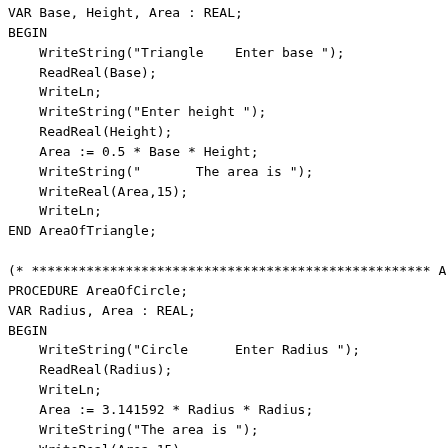VAR Base, Height, Area : REAL;
BEGIN
    WriteString("Triangle    Enter base ");
    ReadReal(Base);
    WriteLn;
    WriteString("Enter height ");
    ReadReal(Height);
    Area := 0.5 * Base * Height;
    WriteString("       The area is ");
    WriteReal(Area,15);
    WriteLn;
END AreaOfTriangle;

(* *************************************************** Are
PROCEDURE AreaOfCircle;
VAR Radius, Area : REAL;
BEGIN
    WriteString("Circle      Enter Radius ");
    ReadReal(Radius);
    WriteLn;
    Area := 3.141592 * Radius * Radius;
    WriteString("The area is ");
    WriteReal(Area,15);
    WriteLn;
END AreaOfCircle;

(* *************************************************** Mai
BEGIN
    REPEAT
        WriteLn;
        WriteString("You only need to input the first lette